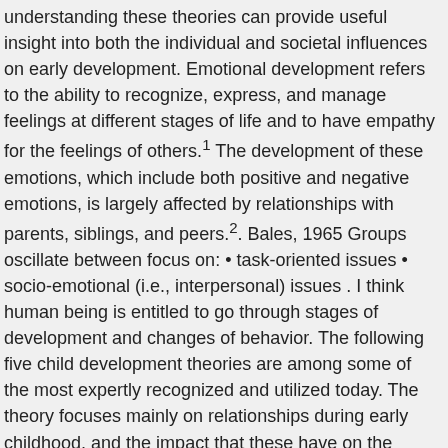understanding these theories can provide useful insight into both the individual and societal influences on early development. Emotional development refers to the ability to recognize, express, and manage feelings at different stages of life and to have empathy for the feelings of others.1 The development of these emotions, which include both positive and negative emotions, is largely affected by relationships with parents, siblings, and peers.2. Bales, 1965 Groups oscillate between focus on: • task-oriented issues • socio-emotional (i.e., interpersonal) issues . I think human being is entitled to go through stages of development and changes of behavior. The following five child development theories are among some of the most expertly recognized and utilized today. The theory focuses mainly on relationships during early childhood, and the impact that these have on the emotional development and mental health of children as they grow up. Piaget's (1936, 1950) theory of cognitive development explains how a child constructs a mental model of the world. Erik Erikson was an important figure in